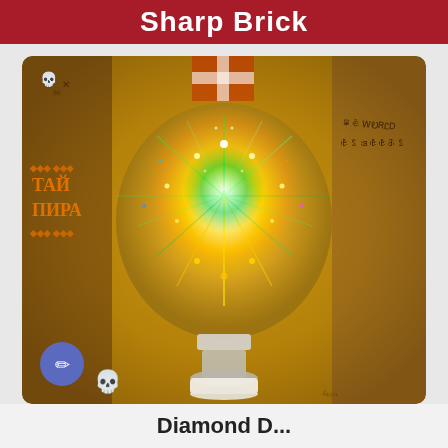Sharp Brick
[Figure (photo): A 3D fireworks effect decorative LED light bulb with diamond/heart shape, glowing with colorful star burst pattern in blues, greens and golds, placed on a white base. Background shows vintage book spines including one in Russian reading 'ТАЙ ПИРА' with skull and crossbones imagery. Two overlay icons visible: a blue circle with pen/feather icon and a skull emoji.]
Diamond D...